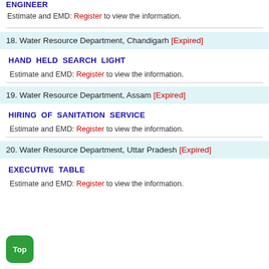HAND HELD SEARCH LIGHT
Estimate and EMD: Register to view the information.
18. Water Resource Department, Chandigarh [Expired]
HAND HELD SEARCH LIGHT
Estimate and EMD: Register to view the information.
19. Water Resource Department, Assam [Expired]
HIRING OF SANITATION SERVICE
Estimate and EMD: Register to view the information.
20. Water Resource Department, Uttar Pradesh [Expired]
EXECUTIVE TABLE
Estimate and EMD: Register to view the information.